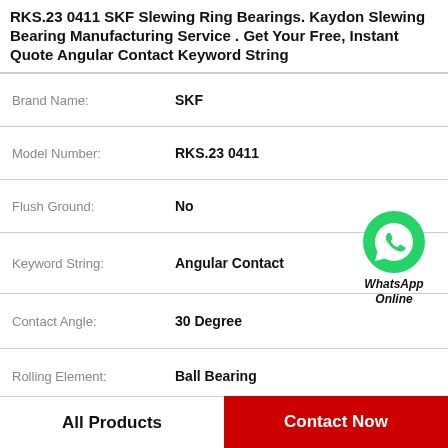RKS.23 0411 SKF Slewing Ring Bearings. Kaydon Slewing Bearing Manufacturing Service . Get Your Free, Instant Quote Angular Contact Keyword String
| Field | Value |
| --- | --- |
| Brand Name: | SKF |
| Model Number: | RKS.23 0411 |
| Flush Ground: | No |
| Keyword String: | Angular Contact |
| Contact Angle: | 30 Degree |
| Rolling Element: | Ball Bearing |
| UNSPSC: | 31171531 |
| Precision Class: | ABEC 1 | ISO P0 |
[Figure (logo): WhatsApp Online green phone icon with text 'WhatsApp Online']
All Products
Contact Now